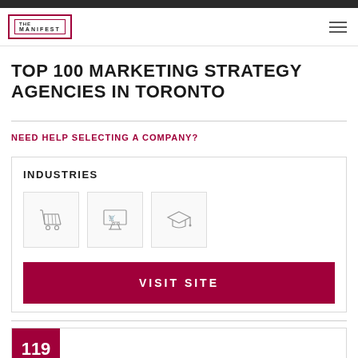THE MANIFEST
TOP 100 MARKETING STRATEGY AGENCIES IN TORONTO
NEED HELP SELECTING A COMPANY?
INDUSTRIES
[Figure (infographic): Three industry icons in bordered boxes: a shopping cart, a monitor with shopping cart, and a graduation cap]
VISIT SITE
119